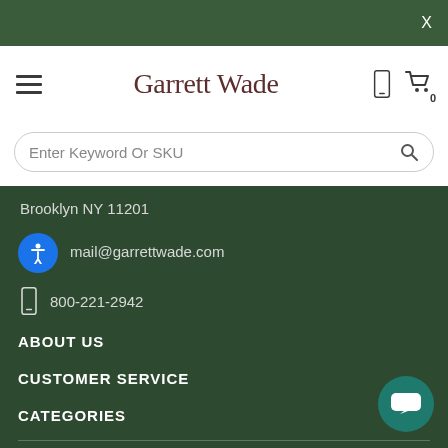X
Garrett Wade
Enter Keyword Or SKU
Brooklyn NY 11201
mail@garrettwade.com
800-221-2942
ABOUT US
CUSTOMER SERVICE
CATEGORIES